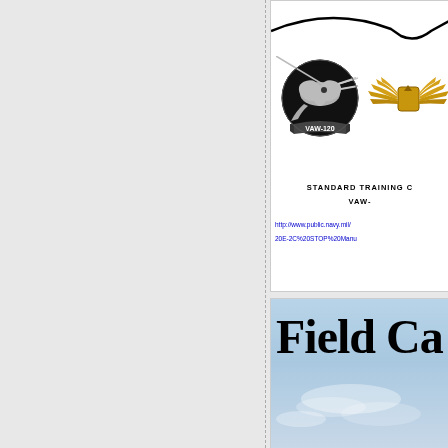[Figure (illustration): VAW-120 squadron badge (circular black badge with flying eagle) and naval aviator wings (gold wings), plus a curved line silhouette at top]
STANDARD TRAINING C... VAW-...
http://www.public.navy.mil/... 20E-2C%20STOP%20Manu...
[Figure (photo): Sky background with large bold text 'Field Ca' visible — appears to be a field carrier landing publication cover with sky photo]